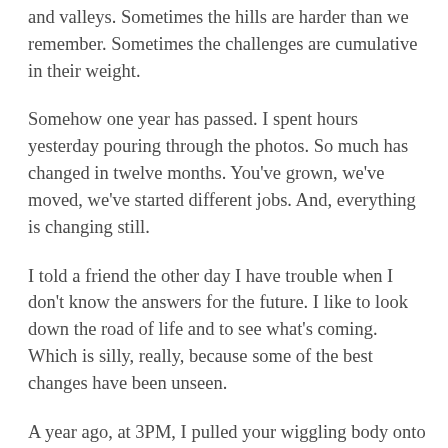and valleys. Sometimes the hills are harder than we remember. Sometimes the challenges are cumulative in their weight.
Somehow one year has passed. I spent hours yesterday pouring through the photos. So much has changed in twelve months. You've grown, we've moved, we've started different jobs. And, everything is changing still.
I told a friend the other day I have trouble when I don't know the answers for the future. I like to look down the road of life and to see what's coming. Which is silly, really, because some of the best changes have been unseen.
A year ago, at 3PM, I pulled your wiggling body onto my chest and cried the tears of relief and happiness only birth can bring. You brought such unexpected magic. You've given me hope for a better future even in some of the world's darkest